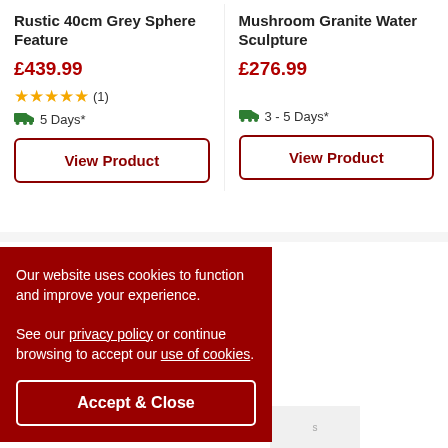Rustic 40cm Grey Sphere Feature
£439.99
★★★★★ (1)
5 Days*
View Product
Mushroom Granite Water Sculpture
£276.99
3 - 5 Days*
View Product
Like
Our website uses cookies to function and improve your experience.

See our privacy policy or continue browsing to accept our use of cookies.
Accept & Close